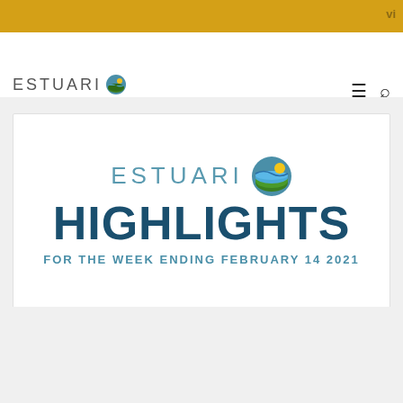vi
[Figure (logo): Estuario logo with circular icon showing landscape and sun — Programa del Estuario de la Bahia de San Juan]
[Figure (logo): Estuario Highlights logo card — large text reading ESTUARIO HIGHLIGHTS FOR THE WEEK ENDING FEBRUARY 14 2021 with the Estuario circular icon]